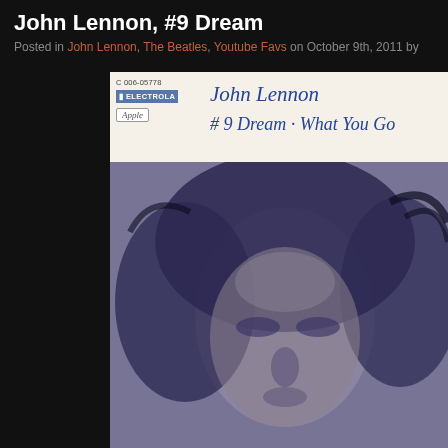John Lennon, #9 Dream
Posted in John Lennon, The Beatles, Youtube Favs on October 9th, 2011 by
[Figure (photo): Album/single cover for John Lennon #9 Dream on Apple/Electrola Records. Top portion shows label strip with catalogue number C 006-05778, EMI Electrola and Apple logos, and blue italic text reading 'John Lennon' and '#9 Dream · What You Go'. Lower portion shows a large blue-tinted close-up portrait photograph of John Lennon with long dark hair against a light background.]